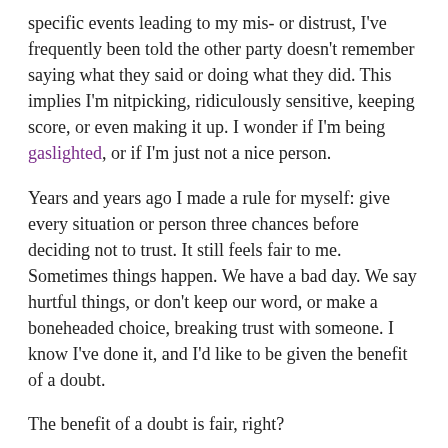specific events leading to my mis- or distrust, I've frequently been told the other party doesn't remember saying what they said or doing what they did. This implies I'm nitpicking, ridiculously sensitive, keeping score, or even making it up. I wonder if I'm being gaslighted, or if I'm just not a nice person.
Years and years ago I made a rule for myself: give every situation or person three chances before deciding not to trust. It still feels fair to me. Sometimes things happen. We have a bad day. We say hurtful things, or don't keep our word, or make a boneheaded choice, breaking trust with someone. I know I've done it, and I'd like to be given the benefit of a doubt.
The benefit of a doubt is fair, right?
I still follow that rule. It feels appropriately kind to others and like good self-care. Yet I feel guilt nearly